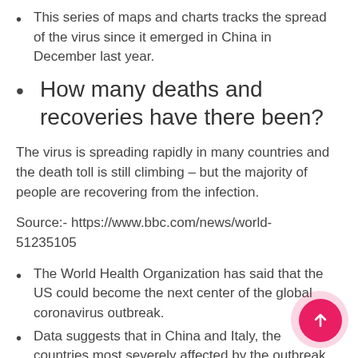This series of maps and charts tracks the spread of the virus since it emerged in China in December last year.
How many deaths and recoveries have there been?
The virus is spreading rapidly in many countries and the death toll is still climbing – but the majority of people are recovering from the infection.
Source:- https://www.bbc.com/news/world-51235105
The World Health Organization has said that the US could become the next center of the global coronavirus outbreak.
Data suggests that in China and Italy, the countries most severely affected by the outbreak, strict quarantining measures seemed to work, slowing the spread of the disease.
Data also indicates that new infections in the US are growing so fast that the total could soon surpass both